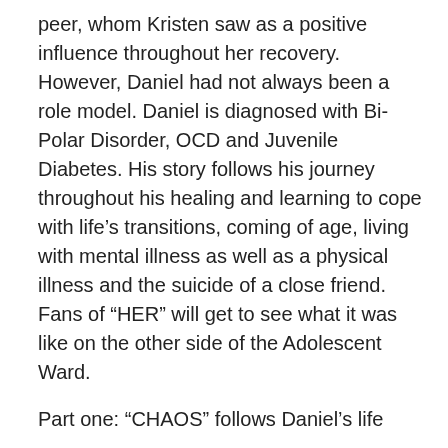peer, whom Kristen saw as a positive influence throughout her recovery. However, Daniel had not always been a role model. Daniel is diagnosed with Bi-Polar Disorder, OCD and Juvenile Diabetes. His story follows his journey throughout his healing and learning to cope with life's transitions, coming of age, living with mental illness as well as a physical illness and the suicide of a close friend. Fans of “HER” will get to see what it was like on the other side of the Adolescent Ward.
Part one: “CHAOS” follows Daniel’s life before he goes into Bent Creek Hospital during his mental breakdown.
Part two: “MONSTER” follows Daniel’s story while he is in Bent Creek Hospital through his treatment.
Part three: “LOVE” follows Daniel after his treatment in